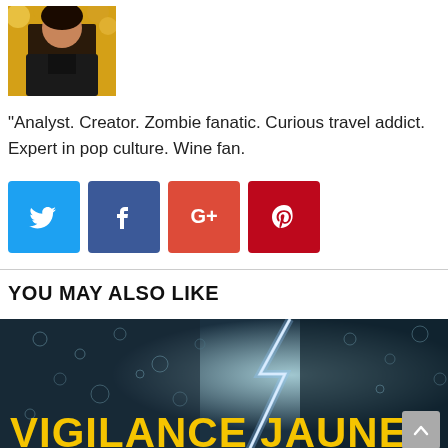[Figure (photo): Author profile photo - woman with dark hair against yellow flowers background]
"Analyst. Creator. Zombie fanatic. Curious travel addict. Expert in pop culture. Wine fan.
[Figure (infographic): Social media share buttons: Twitter (blue), Facebook (blue-purple), Google+ (red-orange), Pinterest (red)]
YOU MAY ALSO LIKE
[Figure (photo): Storm image with lightning and rain droplets on glass, with overlay text VIGILANCE JAUNE in bold yellow letters]